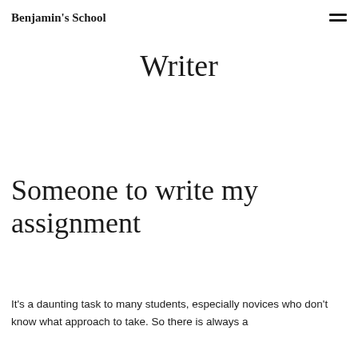Benjamin's School
Writer
Someone to write my assignment
It's a daunting task to many students, especially novices who don't know what approach to take. So there is always a